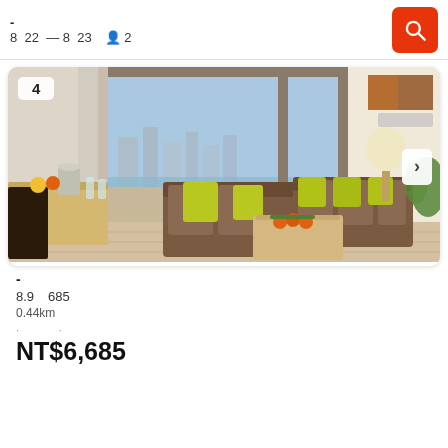- | 8 22 — 8 23 | 2 guests
[Figure (photo): Hotel room interior with large windows showing ocean/city view, brown sofas with yellow/green pillows, wooden coffee table with oranges, warm lighting]
4
-
8.9   685
0.44km
NT$6,685